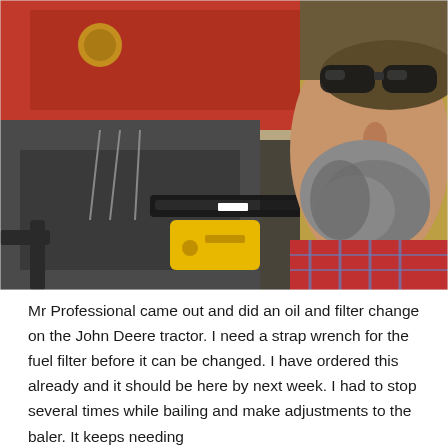[Figure (photo): Selfie of a bearded man wearing sunglasses and a plaid shirt, seated on a tractor or farm equipment. In the background is red and grey farm machinery (hay baler) with chains and yellow components visible.]
Mr Professional came out and did an oil and filter change on the John Deere tractor. I need a strap wrench for the fuel filter before it can be changed. I have ordered this already and it should be here by next week. I had to stop several times while bailing and make adjustments to the baler. It keeps needing